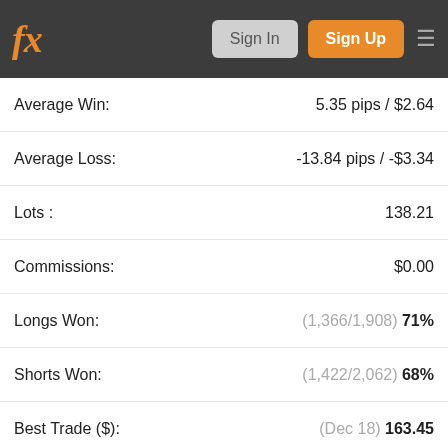fx | Sign In | Sign Up
| Metric | Value |
| --- | --- |
| Average Win: | 5.35 pips / $2.64 |
| Average Loss: | -13.84 pips / -$3.34 |
| Lots : | 138.21 |
| Commissions: | $0.00 |
| Longs Won: | (1,366/1,908) 71% |
| Shorts Won: | (1,422/2,062) 68% |
| Best Trade ($): | (Dec 18) 163.45 |
| Worst Trade ($): | (Oct 28) -149.04 |
| Best Trade (Pips): | (Nov 24) 50.2 |
| Worst Trade (Pips): | (Dec 18) -103.4 |
| Avg. Trade Length: | 4h 44m |
| Profit Factor: | 1.87 |